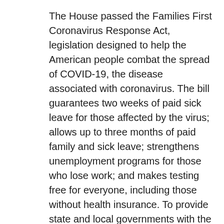The House passed the Families First Coronavirus Response Act, legislation designed to help the American people combat the spread of COVID-19, the disease associated with coronavirus. The bill guarantees two weeks of paid sick leave for those affected by the virus; allows up to three months of paid family and sick leave; strengthens unemployment programs for those who lose work; and makes testing free for everyone, including those without health insurance. To provide state and local governments with the resources they need to provide adequate care, the bill increases funds for Medicaid. It also strengthens food security initiatives such as SNAP, and food programs for seniors and food banks to help address food insecurities created by closures.
After voting to pass the bill, Rep. Aguilar issued the following statement: